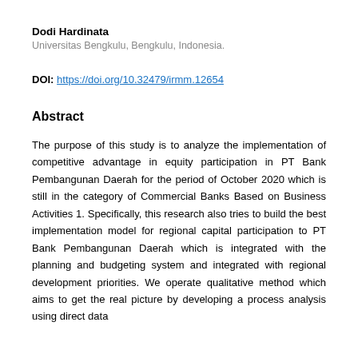Dodi Hardinata
Universitas Bengkulu, Bengkulu, Indonesia.
DOI: https://doi.org/10.32479/irmm.12654
Abstract
The purpose of this study is to analyze the implementation of competitive advantage in equity participation in PT Bank Pembangunan Daerah for the period of October 2020 which is still in the category of Commercial Banks Based on Business Activities 1. Specifically, this research also tries to build the best implementation model for regional capital participation to PT Bank Pembangunan Daerah which is integrated with the planning and budgeting system and integrated with regional development priorities. We operate qualitative method which aims to get the real picture by developing a process analysis using direct data